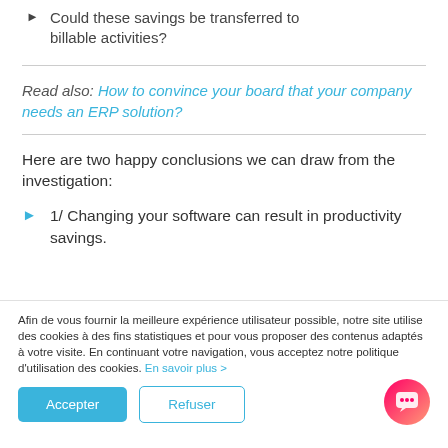Could these savings be transferred to billable activities?
Read also: How to convince your board that your company needs an ERP solution?
Here are two happy conclusions we can draw from the investigation:
1/ Changing your software can result in productivity savings.
Afin de vous fournir la meilleure expérience utilisateur possible, notre site utilise des cookies à des fins statistiques et pour vous proposer des contenus adaptés à votre visite. En continuant votre navigation, vous acceptez notre politique d'utilisation des cookies. En savoir plus >